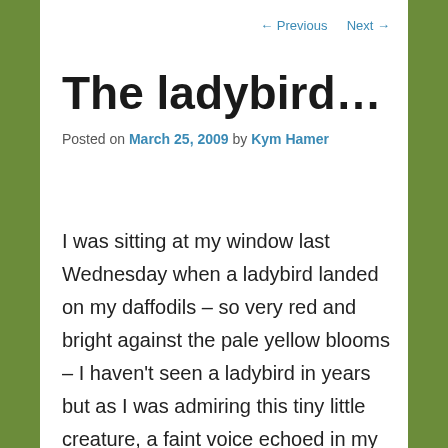← Previous   Next →
The ladybird…
Posted on March 25, 2009 by Kym Hamer
I was sitting at my window last Wednesday when a ladybird landed on my daffodils – so very red and bright against the pale yellow blooms – I haven't seen a ladybird in years but as I was admiring this tiny little creature, a faint voice echoed in my head – a visit from a ladybird precedes death. An old wives tale I thought…